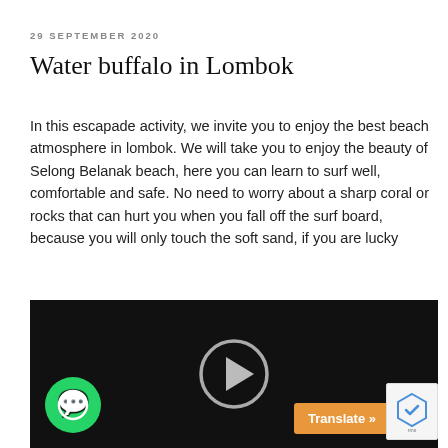29 SEPTEMBER 2020
Water buffalo in Lombok
In this escapade activity, we invite you to enjoy the best beach atmosphere in lombok. We will take you to enjoy the beauty of Selong Belanak beach, here you can learn to surf well, comfortable and safe. No need to worry about a sharp coral or rocks that can hurt you when you fall off the surf board, because you will only touch the soft sand, if you are lucky
[Figure (screenshot): Video player with dark background and circular play button in center; WhatsApp button bottom-left; Translate bar bottom-right; reCAPTCHA badge far right]